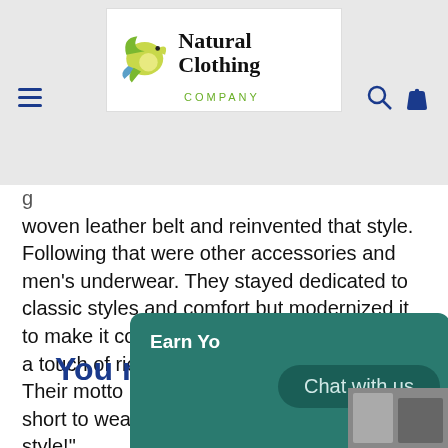Natural Clothing Company
woven leather belt and reinvented that style. Following that were other accessories and men's underwear. They stayed dedicated to classic styles and comfort but modernized it to make it contemporary and distinctive with a touch of rich colors.
Their motto is: "Brighten your life. Life is too short to wear ordinary. Have fun with your style!"
You m...
Earn Yo...
Chat with us